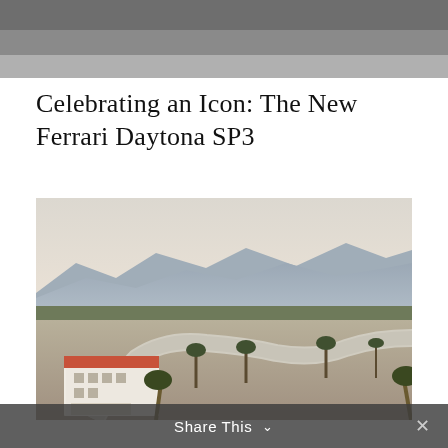[Figure (photo): Partial view of a car interior or exterior, dark gray tones, cropped at top of page]
Celebrating an Icon: The New Ferrari Daytona SP3
[Figure (photo): Aerial or elevated view of a racing circuit/track area with a white Spanish-style building in the foreground, palm trees, mountains in the background under a hazy sky. Appears to be the Thermal Club or similar desert racing venue.]
Share This